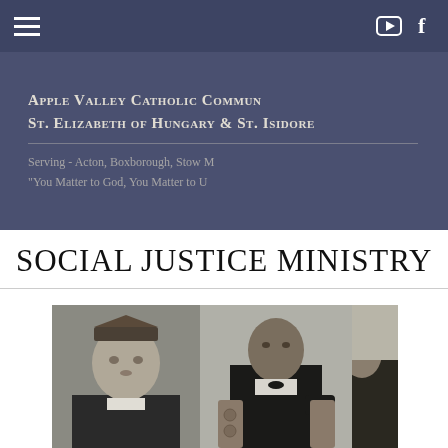Navigation bar with hamburger menu, YouTube and Facebook icons
Apple Valley Catholic Community — St. Elizabeth of Hungary & St. Isidore
Serving - Acton, Boxborough, Stow M...
"You Matter to God, You Matter to U..."
SOCIAL JUSTICE MINISTRY
[Figure (photo): Black and white historical photograph collage showing three figures: a young Black man in clerical collar and academic cap on the left, a seated older Black man in formal attire in the center, and a partial third figure partially cropped on the right.]